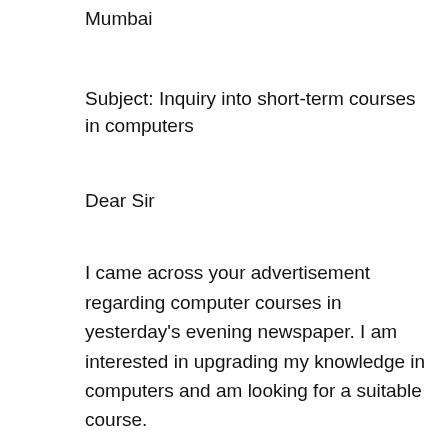Mumbai
Subject: Inquiry into short-term courses in computers
Dear Sir
I came across your advertisement regarding computer courses in yesterday's evening newspaper. I am interested in upgrading my knowledge in computers and am looking for a suitable course.
After my board examinations in the spring, I, a student in class XI, want to take a computer graphics course in the summer. Please tell me in depth about the courses related to computers offered by your